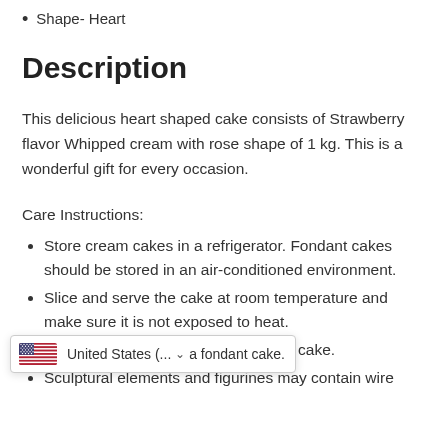Shape- Heart
Description
This delicious heart shaped cake consists of Strawberry flavor Whipped cream with rose shape of 1 kg. This is a wonderful gift for every occasion.
Care Instructions:
Store cream cakes in a refrigerator. Fondant cakes should be stored in an air-conditioned environment.
Slice and serve the cake at room temperature and make sure it is not exposed to heat.
...a fondant cake.
Sculptural elements and figurines may contain wire